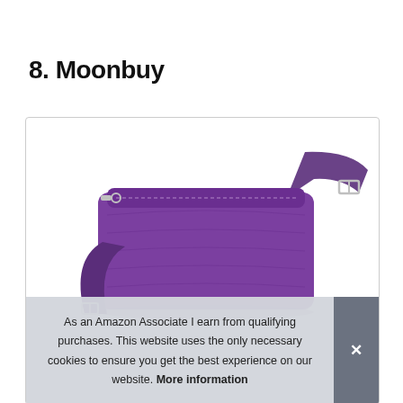8. Moonbuy
[Figure (photo): A purple crossbody bag with a shoulder strap, shown from a top-down angle. The bag appears to be made of crinkled nylon fabric with silver zipper hardware.]
As an Amazon Associate I earn from qualifying purchases. This website uses the only necessary cookies to ensure you get the best experience on our website. More information